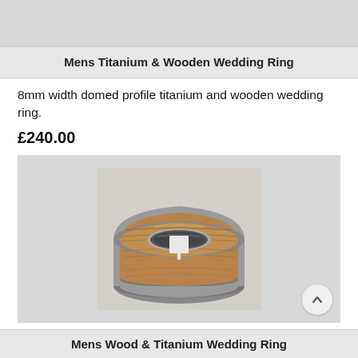Mens Titanium & Wooden Wedding Ring
8mm width domed profile titanium and wooden wedding ring.
£240.00
[Figure (photo): A men's titanium and wooden wedding ring with a domed profile, showing a wood grain inlay in a warm brown tone set between polished titanium edges, photographed from above on a light background.]
Mens Wood & Titanium Wedding Ring